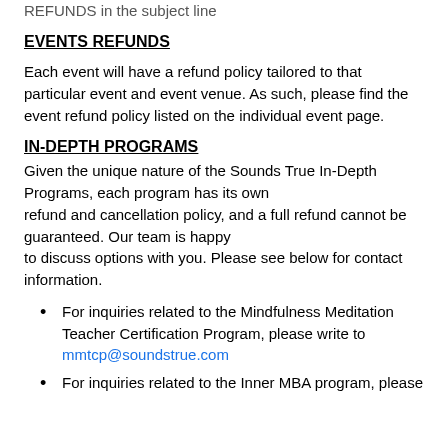REFUNDS in the subject line
EVENTS REFUNDS
Each event will have a refund policy tailored to that particular event and event venue. As such, please find the event refund policy listed on the individual event page.
IN-DEPTH PROGRAMS
Given the unique nature of the Sounds True In-Depth Programs, each program has its own refund and cancellation policy, and a full refund cannot be guaranteed. Our team is happy to discuss options with you. Please see below for contact information.
For inquiries related to the Mindfulness Meditation Teacher Certification Program, please write to mmtcp@soundstrue.com
For inquiries related to the Inner MBA program, please